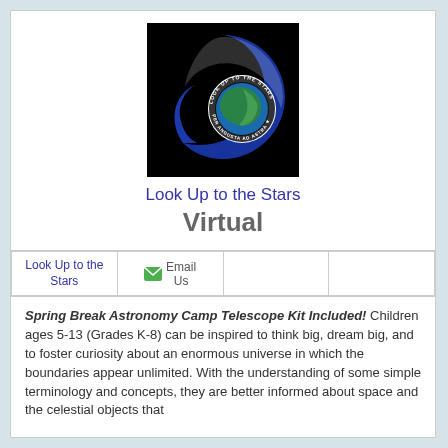[Figure (logo): Look Up to the Stars logo: blue crescent swoosh around a globe with circular text reading 'LOOK UP TO THE STARS' and 'PER ANGUSTA AD ASTRA' on black background]
Look Up to the Stars
Virtual
| Look Up to the Stars | Email Us |  |  |
| --- | --- | --- | --- |
Spring Break Astronomy Camp Telescope Kit Included! Children ages 5-13 (Grades K-8) can be inspired to think big, dream big, and to foster curiosity about an enormous universe in which the boundaries appear unlimited. With the understanding of some simple terminology and concepts, they are better informed about space and the celestial objects that